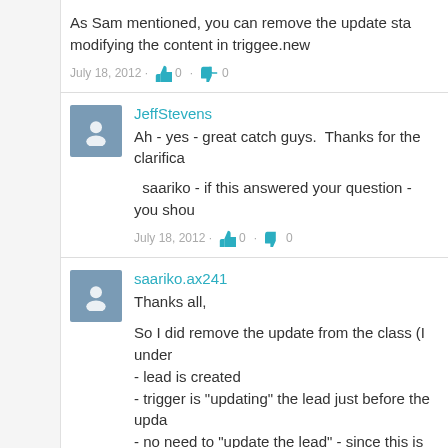As Sam mentioned, you can remove the update statement by modifying the content in triggee.new
July 18, 2012 · 👍 0 · 👎 0
JeffStevens
Ah - yes - great catch guys.  Thanks for the clarification
saariko - if this answered your question - you shou
July 18, 2012 · 👍 0 · 👎 0
saariko.ax241
Thanks all,
So I did remove the update from the class (I under - lead is created - trigger is "updating" the lead just before the upda - no need to "update the lead" - since this is done
- I added the query string (as suggested by @JeffSt